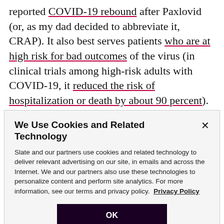reported COVID-19 rebound after Paxlovid (or, as my dad decided to abbreviate it, CRAP). It also best serves patients who are at high risk for bad outcomes of the virus (in clinical trials among high-risk adults with COVID-19, it reduced the risk of hospitalization or death by about 90 percent). Because of this, I found that some doctors were not gung-ho about prescribing it, instead recommending rest and Tylenol.
We Use Cookies and Related Technology
Slate and our partners use cookies and related technology to deliver relevant advertising on our site, in emails and across the Internet. We and our partners also use these technologies to personalize content and perform site analytics. For more information, see our terms and privacy policy. Privacy Policy
OK